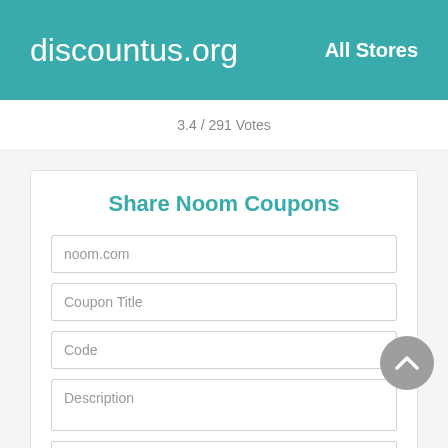discountus.org   All Stores
3.4 / 291 Votes
Share Noom Coupons
noom.com
Coupon Title
Code
Description
Expiration